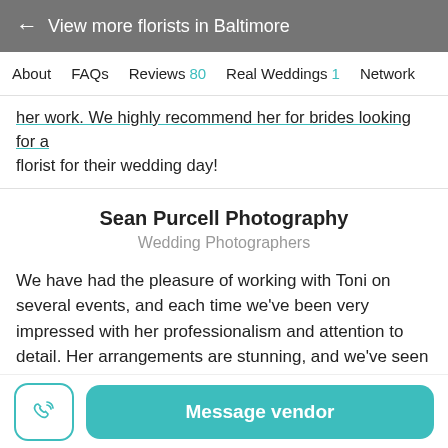← View more florists in Baltimore
About  FAQs  Reviews 80  Real Weddings 1  Network
her work. We highly recommend her for brides looking for a florist for their wedding day!
Sean Purcell Photography
Wedding Photographers
We have had the pleasure of working with Toni on several events, and each time we've been very impressed with her professionalism and attention to detail. Her arrangements are stunning, and we've seen her pull off some incredible
Message vendor